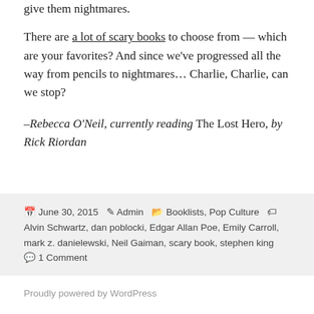give them nightmares.
There are a lot of scary books to choose from — which are your favorites? And since we've progressed all the way from pencils to nightmares… Charlie, Charlie, can we stop?
–Rebecca O'Neil, currently reading The Lost Hero, by Rick Riordan
Posted June 30, 2015  Author Admin  Categories Booklists, Pop Culture  Tags Alvin Schwartz, dan poblocki, Edgar Allan Poe, Emily Carroll, mark z. danielewski, Neil Gaiman, scary book, stephen king  1 Comment
Proudly powered by WordPress